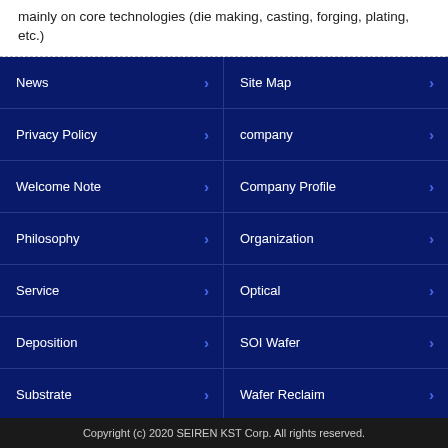mainly on core technologies (die making, casting, forging, plating, etc.)
News
Site Map
Privacy Policy
company
Welcome Note
Company Profile
Philosophy
Organization
Service
Optical
Deposition
SOI Wafer
Substrate
Wafer Reclaim
Ion Implantation
Copyright (c) 2020 SEIREN KST Corp. All rights reserved.